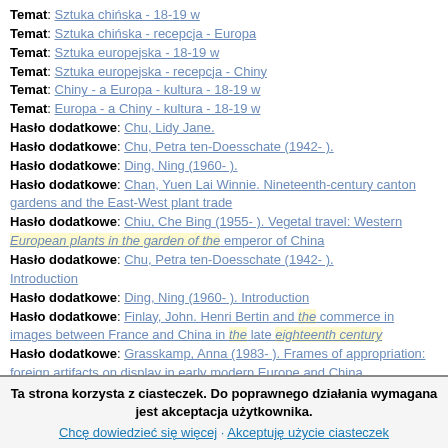Temat: Sztuka chińska - 18-19 w
Temat: Sztuka chińska - recepcja - Europa
Temat: Sztuka europejska - 18-19 w
Temat: Sztuka europejska - recepcja - Chiny
Temat: Chiny - a Europa - kultura - 18-19 w
Temat: Europa - a Chiny - kultura - 18-19 w
Hasło dodatkowe: Chu, Lidy Jane.
Hasło dodatkowe: Chu, Petra ten-Doesschate (1942- ).
Hasło dodatkowe: Ding, Ning (1960- ).
Hasło dodatkowe: Chan, Yuen Lai Winnie. Nineteenth-century canton gardens and the East-West plant trade
Hasło dodatkowe: Chiu, Che Bing (1955- ). Vegetal travel: Western European plants in the garden of the emperor of China
Hasło dodatkowe: Chu, Petra ten-Doesschate (1942- ). Introduction
Hasło dodatkowe: Ding, Ning (1960- ). Introduction
Hasło dodatkowe: Finlay, John. Henri Bertin and the commerce in images between France and China in the late eighteenth century
Hasło dodatkowe: Grasskamp, Anna (1983- ). Frames of appropriation: foreign artifacts on display in early modern Europe and China
Ta strona korzysta z ciasteczek. Do poprawnego działania wymagana jest akceptacja użytkownika.
Chcę dowiedzieć się więcej · Akceptuję użycie ciasteczek